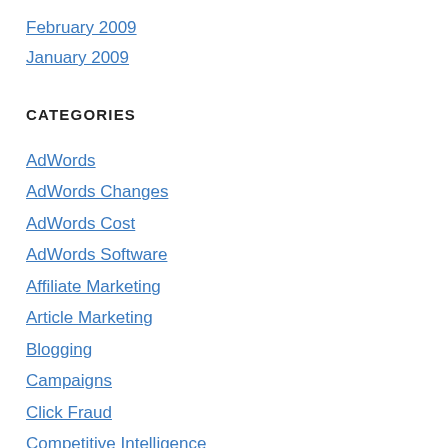February 2009
January 2009
CATEGORIES
AdWords
AdWords Changes
AdWords Cost
AdWords Software
Affiliate Marketing
Article Marketing
Blogging
Campaigns
Click Fraud
Competitive Intelligence
Consulting
Content Network
Conversion